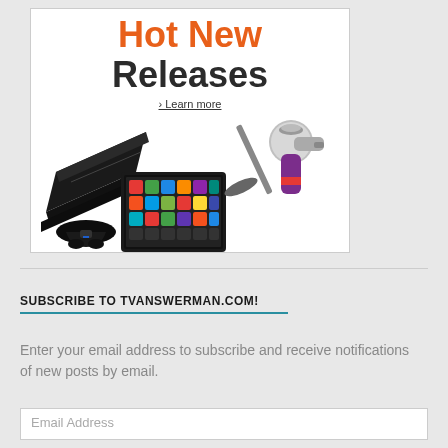[Figure (photo): Hot New Releases advertisement banner showing a PS4 console, Kindle Fire tablet, and Dyson vacuum cleaner with text 'Hot New Releases' and '> Learn more' link]
SUBSCRIBE TO TVANSWERMAN.COM!
Enter your email address to subscribe and receive notifications of new posts by email.
Email Address